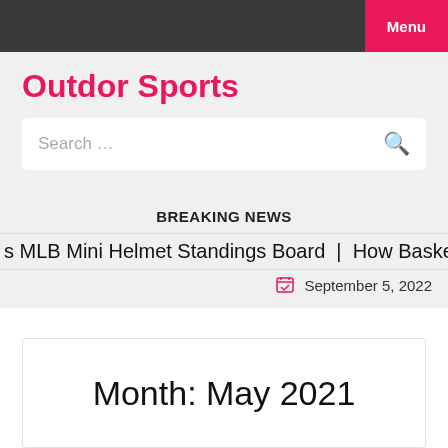Menu
Outdor Sports
Search …
BREAKING NEWS
s MLB Mini Helmet Standings Board | How Basketball Bou
September 5, 2022
Month: May 2021